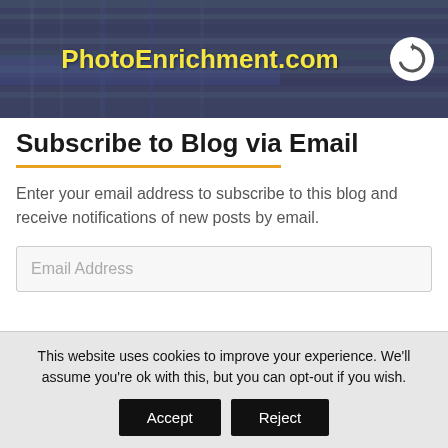[Figure (illustration): Website banner for PhotoEnrichment.com showing a decorative background with weaving/textile imagery in green and blue tones, overlaid with a semi-transparent purple/indigo band. The site name 'PhotoEnrichment.com' appears in bold yellow text, and a white circular logo icon is on the right side.]
Subscribe to Blog via Email
Enter your email address to subscribe to this blog and receive notifications of new posts by email.
Email Address
This website uses cookies to improve your experience. We'll assume you're ok with this, but you can opt-out if you wish.
Accept
Reject